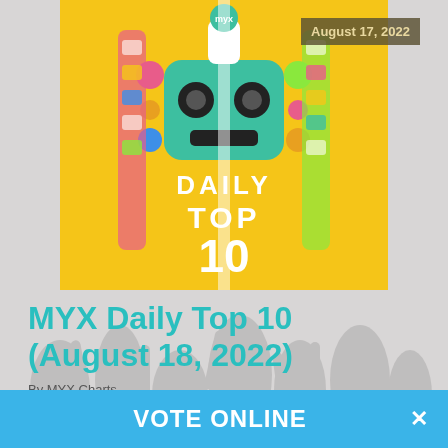[Figure (photo): MYX Daily Top 10 show thumbnail with colorful robot/character art on yellow background, showing 'MYX Daily Top 10' text]
August 17, 2022
MYX Daily Top 10 (August 18, 2022)
By MYX Charts
Read More
VOTE ONLINE